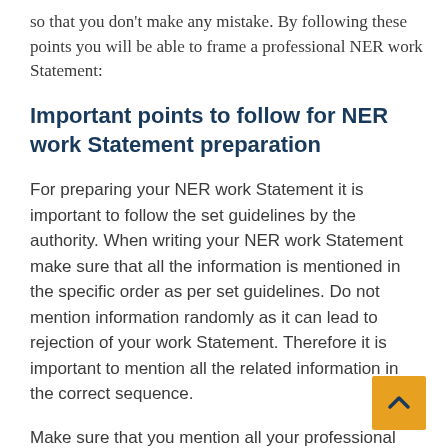so that you don't make any mistake. By following these points you will be able to frame a professional NER work Statement:
Important points to follow for NER work Statement preparation
For preparing your NER work Statement it is important to follow the set guidelines by the authority. When writing your NER work Statement make sure that all the information is mentioned in the specific order as per set guidelines. Do not mention information randomly as it can lead to rejection of your work Statement. Therefore it is important to mention all the related information in the correct sequence.
Make sure that you mention all your professional work experience in the NER work Statement. This includes all the professional engineering work or projects that you